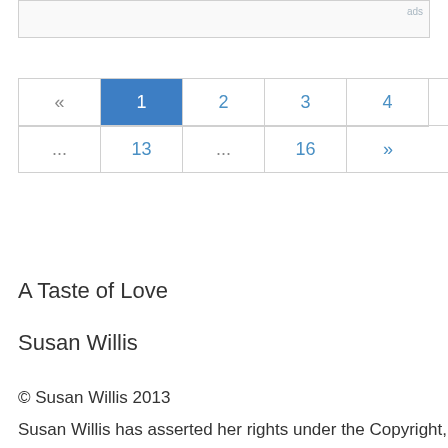[Figure (other): Advertisement placeholder box with 'ads' label in top-right corner]
| « | 1 | 2 | 3 | 4 | 5 | 6 | 7 | 8 | 9 | 10 |
| ... | 13 | ... | 16 | » |
A Taste of Love
Susan Willis
© Susan Willis 2013
Susan Willis has asserted her rights under the Copyright,